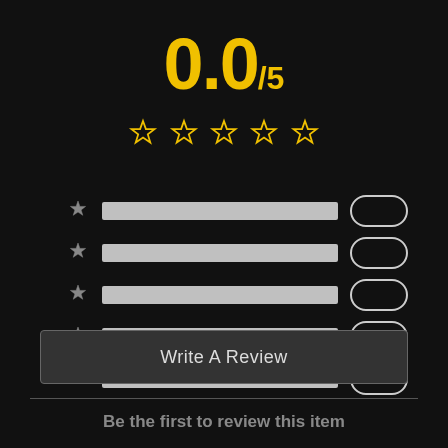0.0/5
[Figure (infographic): Five empty gold star outlines representing a 0.0 out of 5 rating]
[Figure (infographic): Five horizontal bar rows each with a gray star icon on the left, a gray progress bar in the middle (all empty/full width), and an oval pill outline on the right — representing rating distribution with zero counts]
Write A Review
Be the first to review this item